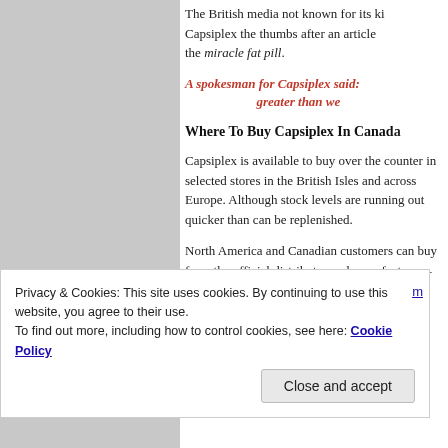[Figure (other): Grey sidebar panel on the left side of the page]
The British media not known for its ki... Capsiplex the thumbs after an article... the miracle fat pill.
A spokesman for Capsiplex said: ... greater than we...
Where To Buy Capsiplex In Canad...
Capsiplex is available to buy over the counter in selected stores in the British Isles and across Europe. Although stock levels are running out quicker than can be replenished.
North America and Canadian customers can buy from the official distributor and manufacturer –
A one month supply contains 30 pills...
Privacy & Cookies: This site uses cookies. By continuing to use this website, you agree to their use.
To find out more, including how to control cookies, see here: Cookie Policy
Close and accept